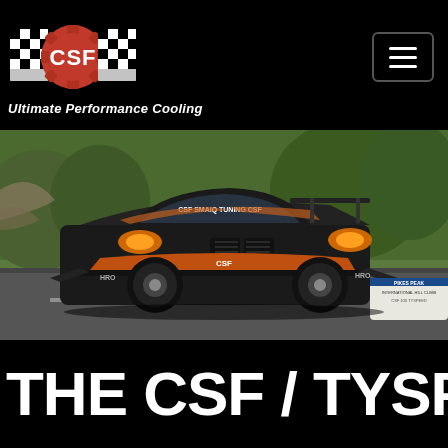[Figure (logo): CSF logo with checkered flags and gear icon, orange and white colors]
Ultimate Performance Cooling
[Figure (photo): Dark BMW M2 race car with orange accents and CSF branding racing at Pikes Peak International Hill Climb, with trees in background]
THE CSF / TYSPEED